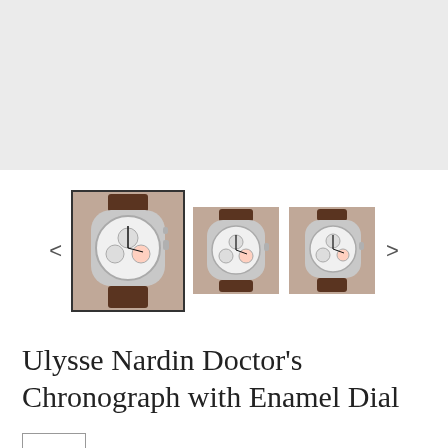[Figure (photo): Main large image area showing a watch product photo (gray/empty placeholder area)]
[Figure (photo): Three thumbnail images of a Ulysse Nardin Doctor's Chronograph watch with brown leather strap and white enamel dial, shown from slightly different angles. The first (selected, with border) is a large close-up. Two smaller thumbnails beside it.]
Ulysse Nardin Doctor's Chronograph with Enamel Dial